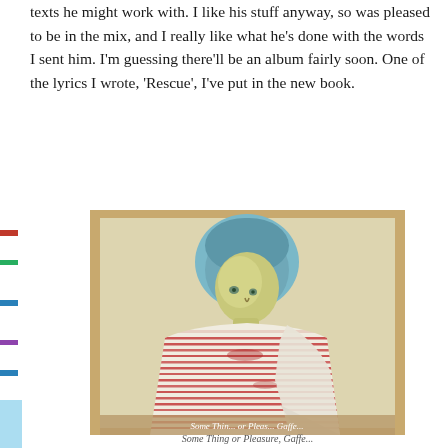texts he might work with. I like his stuff anyway, so was pleased to be in the mix, and I really like what he's done with the words I sent him. I'm guessing there'll be an album fairly soon. One of the lyrics I wrote, 'Rescue', I've put in the new book.
[Figure (illustration): A painting of a figure wearing a red and white striped garment, with a yellow-green face and blue hair/head covering, set against a warm tan/brown background. The style is expressionistic.]
Some Thing or Elsewhere, Gaffe...